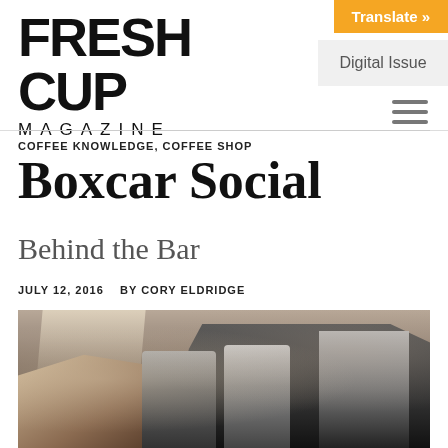FRESH CUP MAGAZINE
Translate »
Digital Issue
COFFEE KNOWLEDGE, COFFEE SHOP
Boxcar Social
Behind the Bar
JULY 12, 2016  BY CORY ELDRIDGE
[Figure (photo): Interior of a coffee shop bar with espresso machines, grinders, and cafe seating in the background]